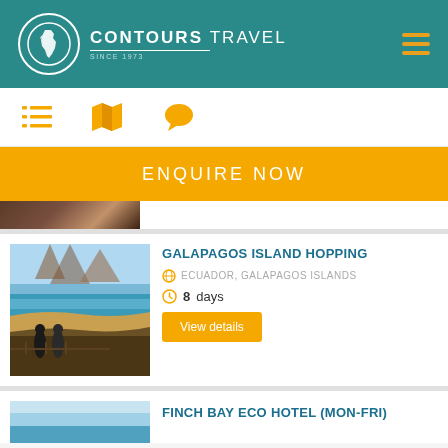CONTOURS TRAVEL
[Figure (logo): Contours Travel logo with globe icon showing South America, white circle on teal background]
ENQUIRE NOW
[Figure (photo): Partial cropped photo at top of page, dark tones]
[Figure (photo): Galapagos Islands scenic photo showing hikers overlooking turquoise bay with rocky mountains]
GALAPAGOS ISLAND HOPPING
ECUADOR, GALAPAGOS ISLANDS
8 days
View details
FINCH BAY ECO HOTEL (MON-FRI)
[Figure (photo): Finch Bay Eco Hotel partial photo with blue water/sky tones]